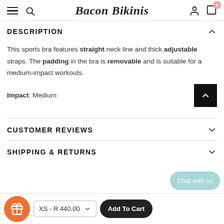Bacon Bikinis
DESCRIPTION
This sports bra features straight neck line and thick adjustable straps. The padding in the bra is removable and is suitable for a medium-impact workouts.
Impact: Medium
CUSTOMER REVIEWS
SHIPPING & RETURNS